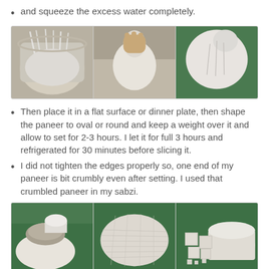and squeeze the excess water completely.
[Figure (photo): Three-panel photo strip showing paneer being drained and squeezed in a cloth]
Then place it in a flat surface or dinner plate, then shape the paneer to oval or round and keep a weight over it and allow to set for 2-3 hours. I let it for full 3 hours and refrigerated for 30 minutes before slicing it.
I did not tighten the edges properly so, one end of my paneer is bit crumbly even after setting. I used that crumbled paneer in my sabzi.
[Figure (photo): Three-panel photo strip showing paneer being weighted, flattened oval shape, and sliced cubes]
After refrigerating, slice the paneer as desired.